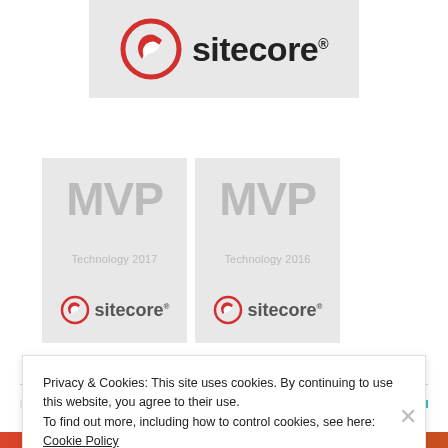[Figure (logo): Sitecore logo on light gray background - red circular icon with white swoosh shapes, followed by 'sitecore' text with registered trademark symbol]
[Figure (logo): Sitecore MVP Technology 2017 badge - gray MVP text, 'Technology 2017' subtitle, Sitecore logo at bottom on light gray background]
[Figure (logo): Sitecore MVP Technology 2016 badge - gray MVP text, 'Technology 2016' subtitle, Sitecore logo at bottom on light gray background]
Privacy & Cookies: This site uses cookies. By continuing to use this website, you agree to their use.
To find out more, including how to control cookies, see here: Cookie Policy
Close and accept